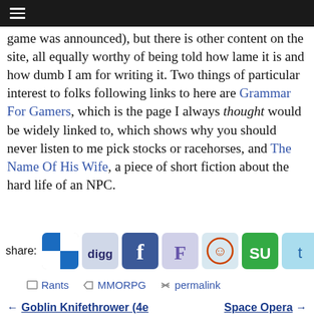☰ (navigation menu)
game was announced), but there is other content on the site, all equally worthy of being told how lame it is and how dumb I am for writing it. Two things of particular interest to folks following links to here are Grammar For Gamers, which is the page I always thought would be widely linked to, which shows why you should never listen to me pick stocks or racehorses, and The Name Of His Wife, a piece of short fiction about the hard life of an NPC.
[Figure (infographic): Social sharing icons row: share label followed by icons for a checkered square, Digg, Facebook, Friendfeed, Reddit, StumbleUpon, Twitter, RSS]
Rants   MMORPG   permalink
← Goblin Knifethrower (4e   Space Opera →